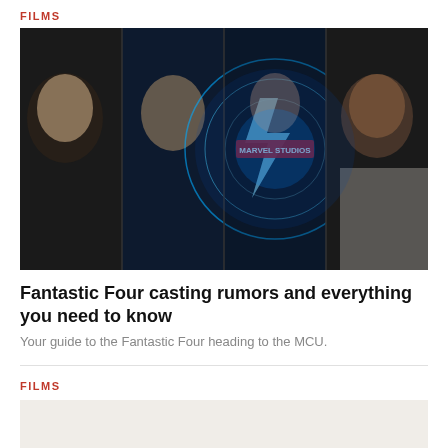FILMS
[Figure (photo): Fantastic Four Marvel Studios movie promotional image showing four cast members with a glowing blue Marvel Studios logo and the number 4 in the center]
Fantastic Four casting rumors and everything you need to know
Your guide to the Fantastic Four heading to the MCU.
FILMS
[Figure (photo): Partially visible second article image, light grey/beige background]